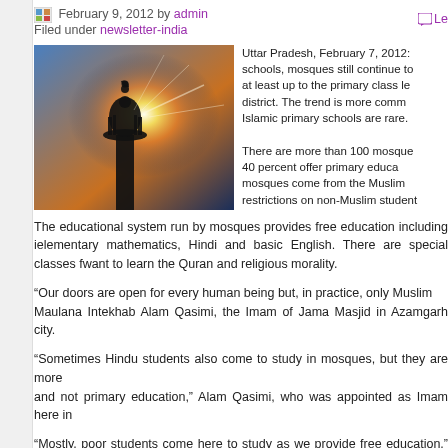February 9, 2012 by admin   Filed under newsletter-india
[Figure (photo): Silhouette of a mosque minaret with crescent moon against a bright sunburst and colorful sky, Reuters photo]
Uttar Pradesh, February 7, 2012: schools, mosques still continue to at least up to the primary class le district. The trend is more comm Islamic primary schools are rare. There are more than 100 mosque 40 percent offer primary educa mosques come from the Muslim restrictions on non-Muslim student
The educational system run by mosques provides free education including elementary mathematics, Hindi and basic English. There are special classes for want to learn the Quran and religious morality.
“Our doors are open for every human being but, in practice, only Muslim Maulana Intekhab Alam Qasimi, the Imam of Jama Masjid in Azamgarh city.
“Sometimes Hindu students also come to study in mosques, but they are more and not primary education,” Alam Qasimi, who was appointed as Imam here in
“Mostly, poor students come here to study as we provide free education,” he sa